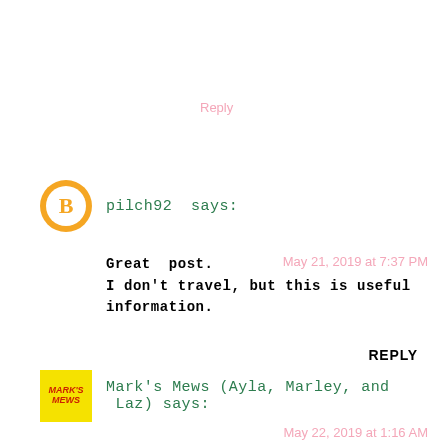Reply
pilch92 says:
May 21, 2019 at 7:37 PM
Great post.
I don't travel, but this is useful information.
REPLY
Mark's Mews (Ayla, Marley, and Laz) says:
May 22, 2019 at 1:16 AM